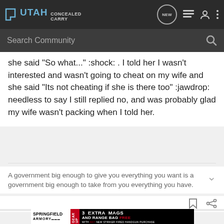UTAH CONCEALED CARRY
she said "So what..." :shock: . I told her I wasn't interested and wasn't going to cheat on my wife and she said "Its not cheating if she is there too" :jawdrop: needless to say I still replied no, and was probably glad my wife wasn't packing when I told her.
A government big enough to give you everything you want is a government big enough to take from you everything you have.
[Figure (screenshot): Springfield Armory advertisement banner: 3 EXTRA MAGS AND RANGE BAG FREE WITH ANY NEW STRIKER FIRED HANDGUN PURCHASE]